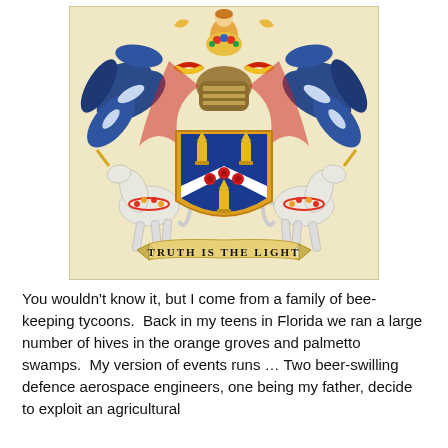[Figure (illustration): A heraldic coat of arms illustration. Two rearing white unicorns wearing floral garlands serve as supporters on either side of a blue and white shield bearing golden torch-like objects and red roses. Above the shield is a helmeted crest with a woman figure holding flowers, surrounded by blue and white acanthus leaf mantling with red and yellow twisted rope. Below the shield is a golden banner scroll with the motto 'TRUTH IS THE LIGHT' in black letters. The background of the illustration is a cream/beige color.]
You wouldn't know it, but I come from a family of bee-keeping tycoons.  Back in my teens in Florida we ran a large number of hives in the orange groves and palmetto swamps.  My version of events runs … Two beer-swilling defence aerospace engineers, one being my father, decide to exploit an agricultural